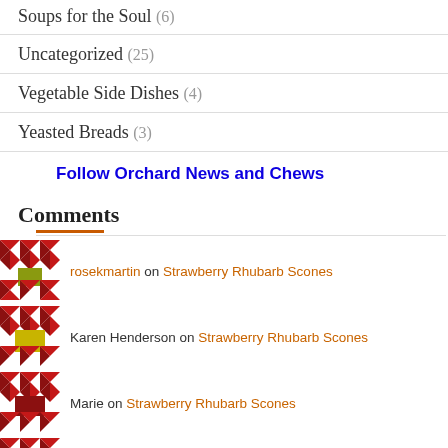Soups for the Soul (6)
Uncategorized (25)
Vegetable Side Dishes (4)
Yeasted Breads (3)
Follow Orchard News and Chews
Comments
rosekmartin on Strawberry Rhubarb Scones
Karen Henderson on Strawberry Rhubarb Scones
Marie on Strawberry Rhubarb Scones
rosekmartin on Strawberry Rhubarb Scones